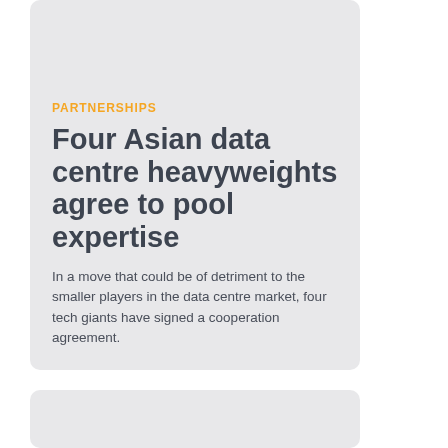PARTNERSHIPS
Four Asian data centre heavyweights agree to pool expertise
In a move that could be of detriment to the smaller players in the data centre market, four tech giants have signed a cooperation agreement.